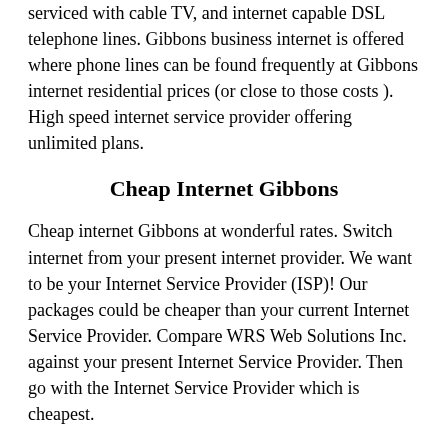serviced with cable TV, and internet capable DSL telephone lines. Gibbons business internet is offered where phone lines can be found frequently at Gibbons internet residential prices (or close to those costs ). High speed internet service provider offering unlimited plans.
Cheap Internet Gibbons
Cheap internet Gibbons at wonderful rates. Switch internet from your present internet provider. We want to be your Internet Service Provider (ISP)! Our packages could be cheaper than your current Internet Service Provider. Compare WRS Web Solutions Inc. against your present Internet Service Provider. Then go with the Internet Service Provider which is cheapest.
Best Internet Service Provider Gibbons
Best Internet Service Provider Gibbons. Best internet prices on Gibbons residents. Gibbons high speed internet service providers. Gibbons internet services are delivered using rented Shaw Gibbons cable TV networks by WRS Web Solutions. Compare Internet Service Provider prices and consider the switch from Shaw Gibbons cable internet to our cable internet. A Modem purchase and full order payment is normally needed at time of